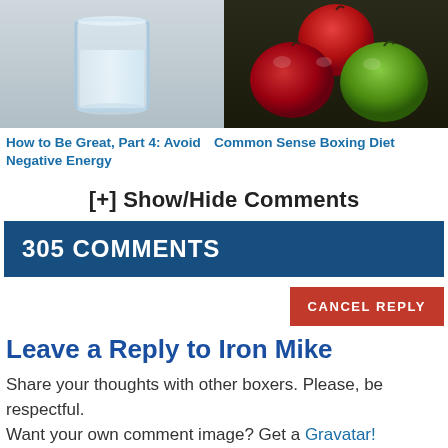[Figure (photo): Photo of a glass of water on a light background (left) and red and green apples on dark background (right)]
How to Be Great, Part 4: Avoid Negative Energy
Common Sense Boxing Diet
[+] Show/Hide Comments
305 COMMENTS
CANCEL REPLY
Leave a Reply to Iron Mike
Share your thoughts with other boxers. Please, be respectful.
Want your own comment image? Get a Gravatar!